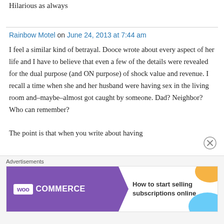Hilarious as always
Rainbow Motel on June 24, 2013 at 7:44 am
I feel a similar kind of betrayal. Dooce wrote about every aspect of her life and I have to believe that even a few of the details were revealed for the dual purpose (and ON purpose) of shock value and revenue. I recall a time when she and her husband were having sex in the living room and–maybe–almost got caught by someone. Dad? Neighbor? Who can remember?
The point is that when you write about having
Advertisements
[Figure (other): WooCommerce advertisement banner: 'How to start selling subscriptions online']